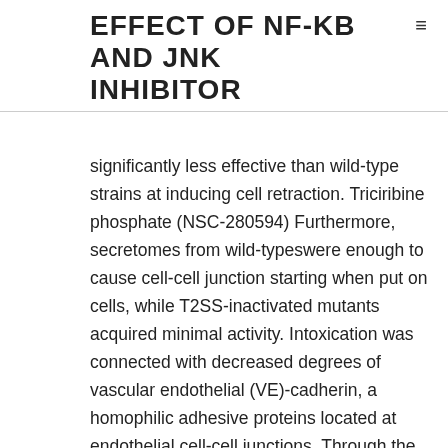EFFECT OF NF-KB AND JNK INHIBITOR
significantly less effective than wild-type strains at inducing cell retraction. Triciribine phosphate (NSC-280594) Furthermore, secretomes from wild-typeswere enough to cause cell-cell junction starting when put on cells, while T2SS-inactivated mutants acquired minimal activity. Intoxication was connected with decreased degrees of vascular endothelial (VE)-cadherin, a homophilic adhesive proteins located at endothelial cell-cell junctions. Through the procedure, the proteins was cleaved in the center of its extracellular domains (positions 335 and 349). VE-cadherin